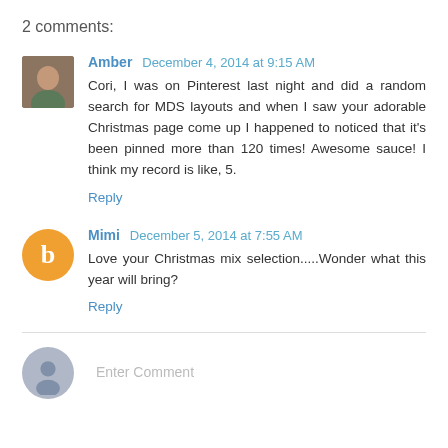2 comments:
Amber  December 4, 2014 at 9:15 AM
Cori, I was on Pinterest last night and did a random search for MDS layouts and when I saw your adorable Christmas page come up I happened to noticed that it's been pinned more than 120 times! Awesome sauce! I think my record is like, 5.
Reply
Mimi  December 5, 2014 at 7:55 AM
Love your Christmas mix selection.....Wonder what this year will bring?
Reply
Enter Comment